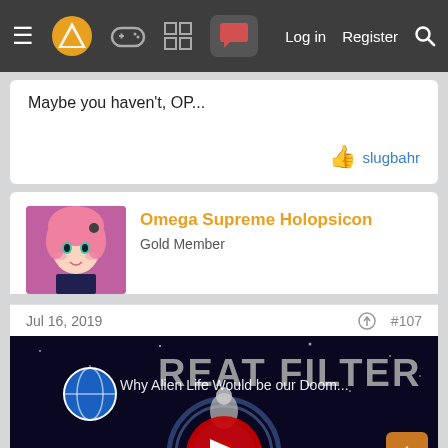Navigation bar with menu, logo, icons, Log in, Register, Search
Maybe you haven't, OP...
slugbahr
Omega Supreme Holopsicon
Gold Member
Jul 16, 2019
#107
[Figure (screenshot): YouTube video thumbnail: 'Why Alien Life Would be our Doom...' with GREAT FILTER text overlay, featuring a purple space scene with alien creatures and a YouTube play button in the center]